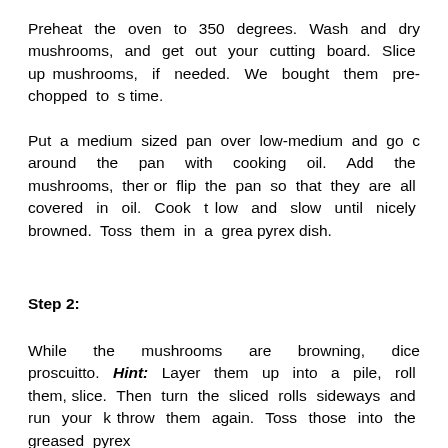Preheat the oven to 350 degrees. Wash and dry mushrooms, and get out your cutting board. Slice up mushrooms, if needed. We bought them pre-chopped to s time.
Put a medium sized pan over low-medium and go c around the pan with cooking oil. Add the mushrooms, ther or flip the pan so that they are all covered in oil. Cook t low and slow until nicely browned. Toss them in a grea pyrex dish.
Step 2:
While the mushrooms are browning, dice proscuitto. Hint: Layer them up into a pile, roll them, slice. Then turn the sliced rolls sideways and run your k throw them again. Toss those into the greased pyrex